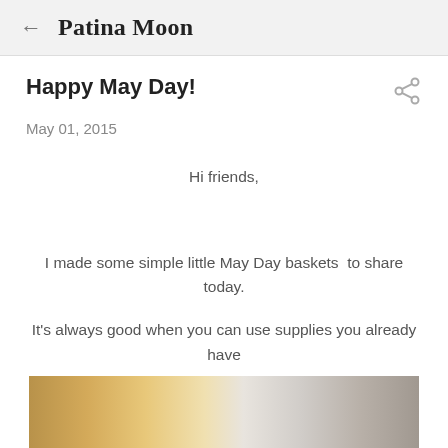← Patina Moon
Happy May Day!
May 01, 2015
Hi friends,

I made some simple little May Day baskets  to share today.

It's always good when you can use supplies you already have

to create some happiness.
[Figure (photo): Bottom portion of a photo showing what appears to be May Day baskets, partially visible at the bottom of the page]